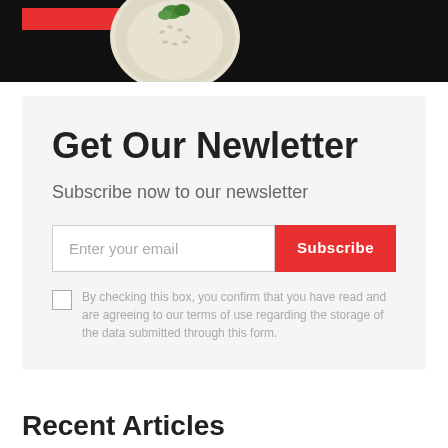[Figure (photo): Top banner with black background, red bar overlay and a plate of rice with parsley garnish]
Get Our Newletter
Subscribe now to our newsletter
Enter your email
Subscribe
By checking this box, you confirm that you have read and are agreeing to our terms of use regarding the storage of the data submitted through this form.
Recent Articles